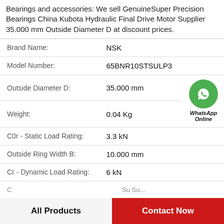Bearings and accessories: We sell GenuineSuper Precision Bearings China Kubota Hydraulic Final Drive Motor Supplier 35.000 mm Outside Diameter D at discount prices.
| Property | Value |
| --- | --- |
| Brand Name: | NSK |
| Model Number: | 65BNR10STSULP3 |
| Outside Diameter D: | 35.000 mm |
| Weight: | 0.04 Kg |
| C0r - Static Load Rating: | 3.3 kN |
| Outside Ring Width B: | 10.000 mm |
| Cr - Dynamic Load Rating: | 6 kN |
[Figure (logo): WhatsApp Online green circle icon with phone handset, text WhatsApp Online below]
All Products
Contact Now